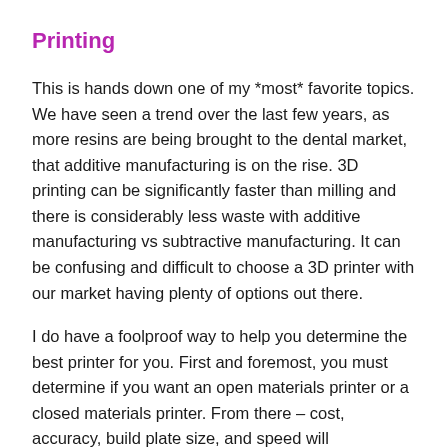Printing
This is hands down one of my *most* favorite topics. We have seen a trend over the last few years, as more resins are being brought to the dental market, that additive manufacturing is on the rise. 3D printing can be significantly faster than milling and there is considerably less waste with additive manufacturing vs subtractive manufacturing. It can be confusing and difficult to choose a 3D printer with our market having plenty of options out there.
I do have a foolproof way to help you determine the best printer for you. First and foremost, you must determine if you want an open materials printer or a closed materials printer. From there – cost, accuracy, build plate size, and speed will